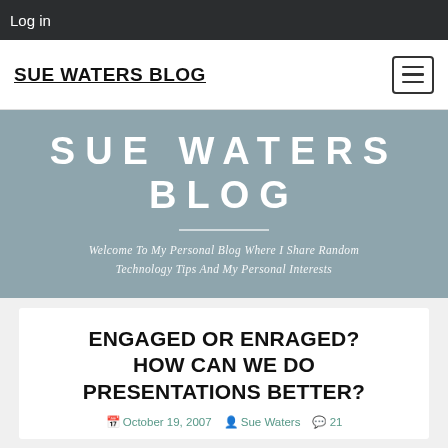Log in
SUE WATERS BLOG
[Figure (other): Hamburger menu icon button]
SUE WATERS BLOG
Welcome To My Personal Blog Where I Share Random Technology Tips And My Personal Interests
ENGAGED OR ENRAGED? HOW CAN WE DO PRESENTATIONS BETTER?
October 19, 2007  Sue Waters  21